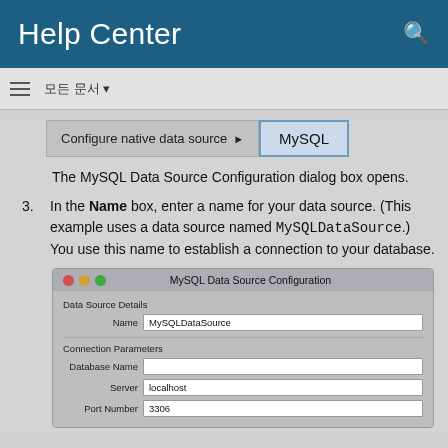Help Center
모든 문서
[Figure (screenshot): Breadcrumb navigation showing 'Configure native data source ▶ MySQL' tab selected]
The MySQL Data Source Configuration dialog box opens.
3. In the Name box, enter a name for your data source. (This example uses a data source named MySQLDataSource.) You use this name to establish a connection to your database.
[Figure (screenshot): MySQL Data Source Configuration dialog showing Data Source Details with Name field set to MySQLDataSource, Connection Parameters with Database Name empty, Server set to localhost, Port Number set to 3306]